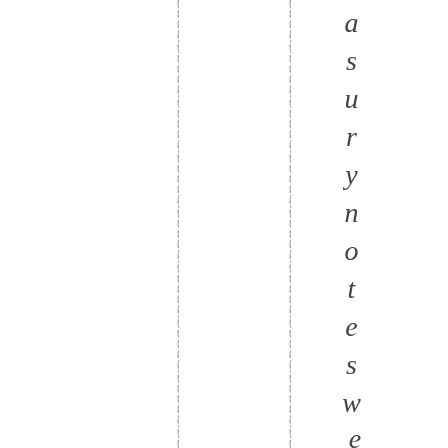[Figure (other): Page with two vertical dashed lines and vertical italic text reading 'asurynoteswereu pas muchas1' arranged character by character top to bottom on the right side]